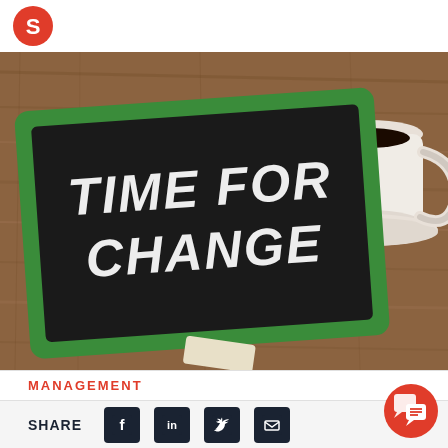[Figure (logo): Red circular logo mark in top-left corner]
[Figure (photo): Photograph of a green-framed chalkboard on a wooden table with 'TIME FOR CHANGE' written in white chalk, with a white coffee cup on a saucer in the upper right corner and a chalk eraser at the bottom]
MANAGEMENT
SHARE with social media icons: Facebook, LinkedIn, Twitter, Email